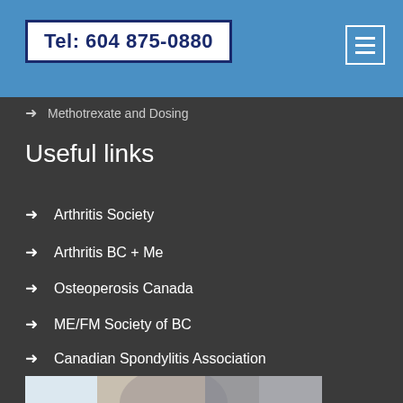Tel: 604 875-0880
Methotrexate and Dosing
Useful links
Arthritis Society
Arthritis BC + Me
Osteoperosis Canada
ME/FM Society of BC
Canadian Spondylitis Association
[Figure (photo): Doctor in white coat holding a stethoscope with cupped hands, partial view of torso and hands]